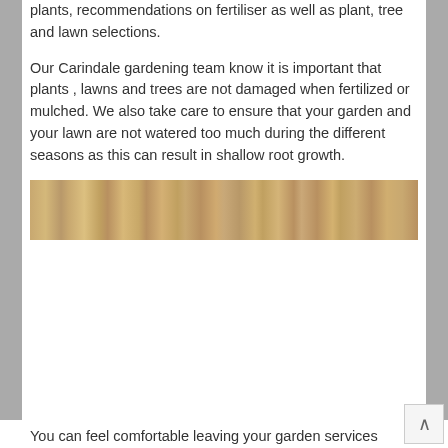plants, recommendations on fertiliser as well as plant, tree and lawn selections.
Our Carindale gardening team know it is important that plants , lawns and trees are not damaged when fertilized or mulched. We also take care to ensure that your garden and your lawn are not watered too much during the different seasons as this can result in shallow root growth.
[Figure (photo): A close-up horizontal photograph of wooden planks or logs with warm brown tones]
You can feel comfortable leaving your garden services